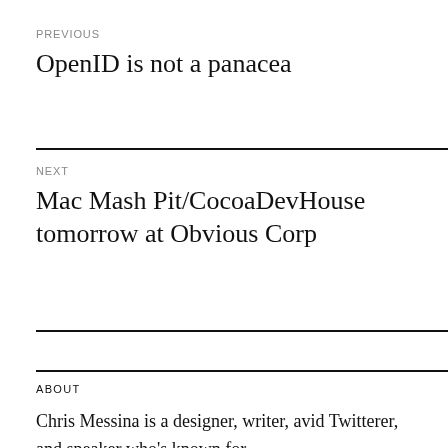PREVIOUS
OpenID is not a panacea
NEXT
Mac Mash Pit/CocoaDevHouse tomorrow at Obvious Corp
ABOUT
Chris Messina is a designer, writer, avid Twitterer, and speaker who’s known for